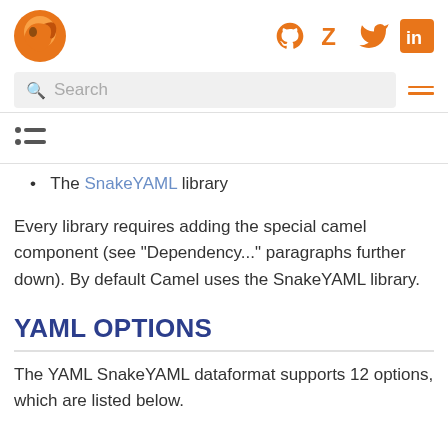Apache Camel documentation site header with logo and social icons (GitHub, Zulip, Twitter, LinkedIn)
Search
[Figure (other): List/TOC icon (three horizontal lines with dots)]
The SnakeYAML library
Every library requires adding the special camel component (see "Dependency..." paragraphs further down). By default Camel uses the SnakeYAML library.
YAML OPTIONS
The YAML SnakeYAML dataformat supports 12 options, which are listed below.